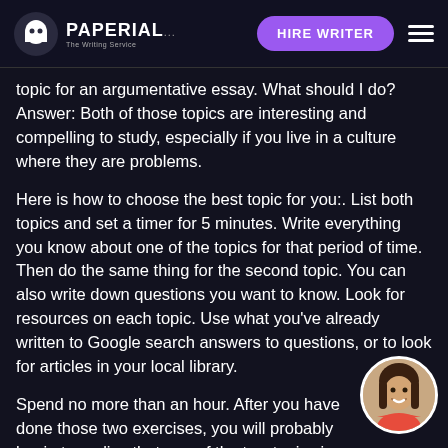PAPERIAL... HIRE WRITER
topic for an argumentative essay. What should I do? Answer: Both of those topics are interesting and compelling to study, especially if you live in a culture where they are problems.
Here is how to choose the best topic for you:. List both topics and set a timer for 5 minutes. Write everything you know about one of the topics for that period of time. Then do the same thing for the second topic. You can also write down questions you want to know. Look for resources on each topic. Use what you've already written to Google search answers to questions, or to look for articles in your local library.
Spend no more than an hour. After you have done those two exercises, you will probably begin to realize that one of the two topics is either more interesting to you, or one that you think you will be able to research more easily. Those two exercises should not take more than...